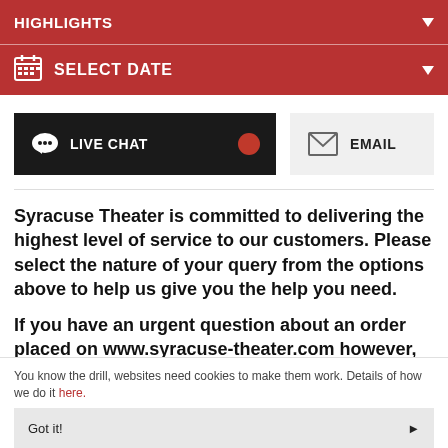HIGHLIGHTS
SELECT DATE
[Figure (screenshot): LIVE CHAT button (dark background with chat icon and red dot)]
[Figure (screenshot): EMAIL button (light gray background with envelope icon)]
Syracuse Theater is committed to delivering the highest level of service to our customers. Please select the nature of your query from the options above to help us give you the help you need.

If you have an urgent question about an order placed on www.syracuse-theater.com however,
You know the drill, websites need cookies to make them work. Details of how we do it here.
Got it!